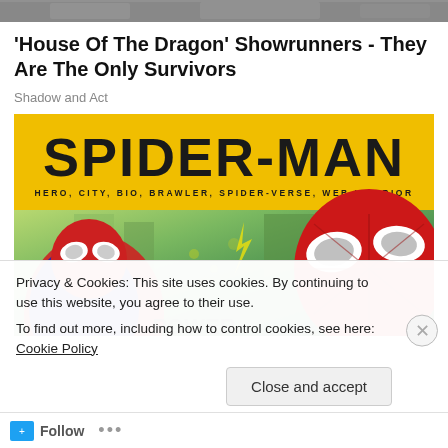[Figure (screenshot): Top strip showing a partially visible image bar at the top of the page]
'House Of The Dragon' Showrunners - They Are The Only Survivors
Shadow and Act
[Figure (illustration): Spider-Man promotional banner with yellow background showing 'SPIDER-MAN' text and subtitle 'HERO, CITY, BIO, BRAWLER, SPIDER-VERSE, WEB-WARRIOR', with two Spider-Man characters against a green city background]
Privacy & Cookies: This site uses cookies. By continuing to use this website, you agree to their use.
To find out more, including how to control cookies, see here: Cookie Policy
Close and accept
Follow